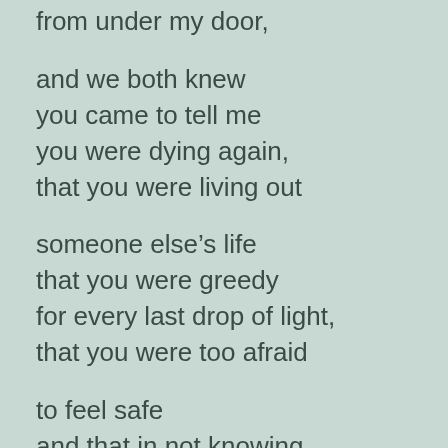from under my door,

and we both knew
you came to tell me
you were dying again,
that you were living out

someone else's life
that you were greedy
for every last drop of light,
that you were too afraid

to feel safe
and that in not knowing